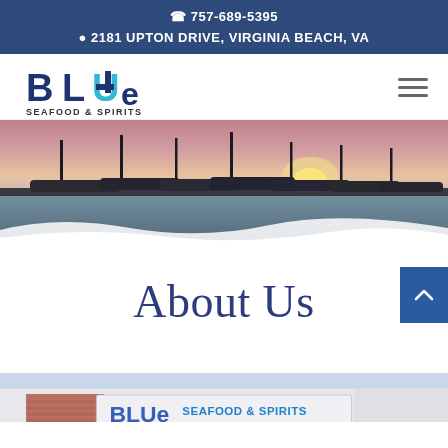757-689-5395
2181 UPTON DRIVE, VIRGINIA BEACH, VA
[Figure (logo): Blue Seafood & Spirits logo — stylized 'BLUe' in dark navy and teal, with 'SEAFOOD & SPIRITS' below]
[Figure (photo): Marina at sunset with boats docked along the pier, pink and purple sky, wave-shaped overlay at bottom]
About Us
[Figure (photo): Exterior sign of Blue Seafood & Spirits restaurant on a building facade with brick wall]